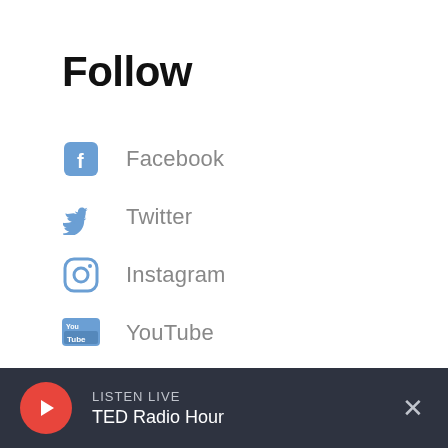Follow
Facebook
Twitter
Instagram
YouTube
LinkedIn
Subscribe to our weekday newsletter
LISTEN LIVE  TED Radio Hour